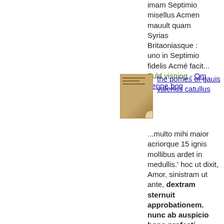imam Septimio misellus Acmen mauult quam Syrias Britaoniasque : uno in Septimio fidelis Acmé facit...
Fuld visning - Om denne bog
[Figure (photo): Thumbnail image of an old book cover, brownish/tan color]
the pomes of gauis valerius catullus
...multo mihi maior acriorque 15 ignis mollibus ardet in medullis.' hoc ut dixit, Amor, sinistram ut ante, dextram sternuit approbationem. nunc ab auspicio bono profecti mutuis animis amant amantur. 18